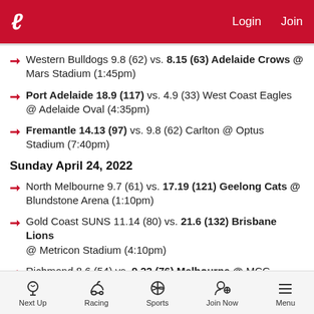L  Login  Join
Western Bulldogs 9.8 (62) vs. 8.15 (63) Adelaide Crows @ Mars Stadium (1:45pm)
Port Adelaide 18.9 (117) vs. 4.9 (33) West Coast Eagles @ Adelaide Oval (4:35pm)
Fremantle 14.13 (97) vs. 9.8 (62) Carlton @ Optus Stadium (7:40pm)
Sunday April 24, 2022
North Melbourne 9.7 (61) vs. 17.19 (121) Geelong Cats @ Blundstone Arena (1:10pm)
Gold Coast SUNS 11.14 (80) vs. 21.6 (132) Brisbane Lions @ Metricon Stadium (4:10pm)
Richmond 8.6 (54) vs. 9.22 (76) Melbourne @ MCG
Next Up  Racing  Sports  Join Now  Menu